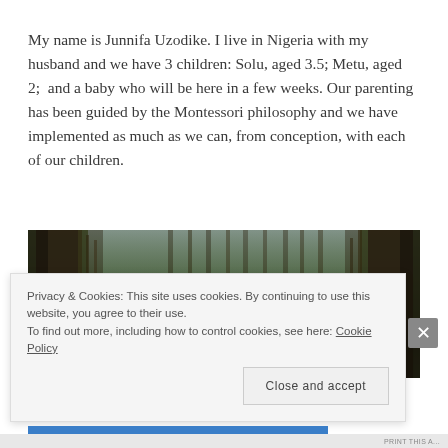My name is Junnifa Uzodike. I live in Nigeria with my husband and we have 3 children: Solu, aged 3.5; Metu, aged 2;  and a baby who will be here in a few weeks. Our parenting has been guided by the Montessori philosophy and we have implemented as much as we can, from conception, with each of our children.
[Figure (photo): Outdoor photograph showing trees with hanging foliage/moss, dark tree trunks visible against a lighter sky background]
Privacy & Cookies: This site uses cookies. By continuing to use this website, you agree to their use. To find out more, including how to control cookies, see here: Cookie Policy
Close and accept